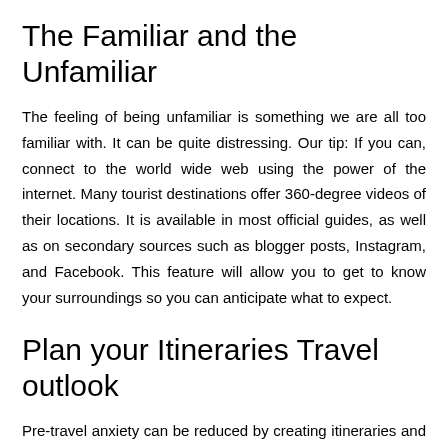The Familiar and the Unfamiliar
The feeling of being unfamiliar is something we are all too familiar with. It can be quite distressing. Our tip: If you can, connect to the world wide web using the power of the internet. Many tourist destinations offer 360-degree videos of their locations. It is available in most official guides, as well as on secondary sources such as blogger posts, Instagram, and Facebook. This feature will allow you to get to know your surroundings so you can anticipate what to expect.
Plan your Itineraries Travel outlook
Pre-travel anxiety can be reduced by creating itineraries and setting a timetable. Do not listen to what others say. You can plan your accommodation, public transport, and places to eat,